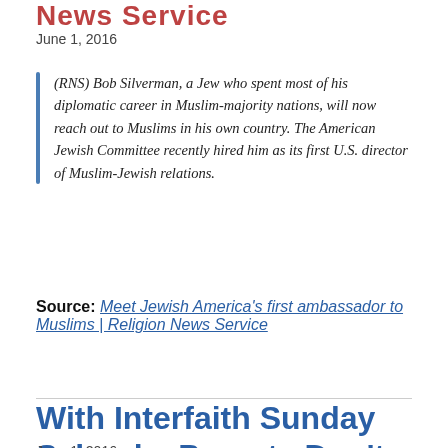News Service
June 1, 2016
(RNS) Bob Silverman, a Jew who spent most of his diplomatic career in Muslim-majority nations, will now reach out to Muslims in his own country. The American Jewish Committee recently hired him as its first U.S. director of Muslim-Jewish relations.
Source: Meet Jewish America's first ambassador to Muslims | Religion News Service
With Interfaith Sunday Schools, Parents Don't Have To Choose One Religion : NPR
June 1, 2016